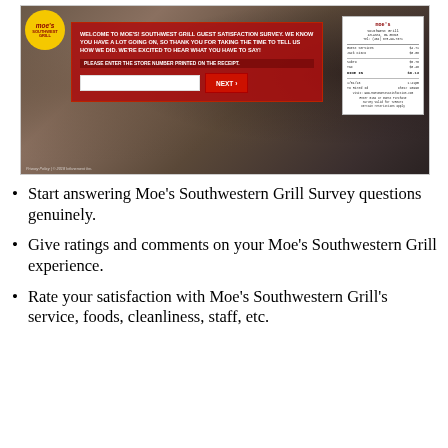[Figure (screenshot): Screenshot of Moe's Southwest Grill guest satisfaction survey webpage, showing the survey entry page with store number input field, NEXT button, and a sample receipt on the right. Moe's logo visible in top-left. Background shows restaurant interior.]
Start answering Moe's Southwestern Grill Survey questions genuinely.
Give ratings and comments on your Moe's Southwestern Grill experience.
Rate your satisfaction with Moe's Southwestern Grill's service, foods, cleanliness, staff, etc.